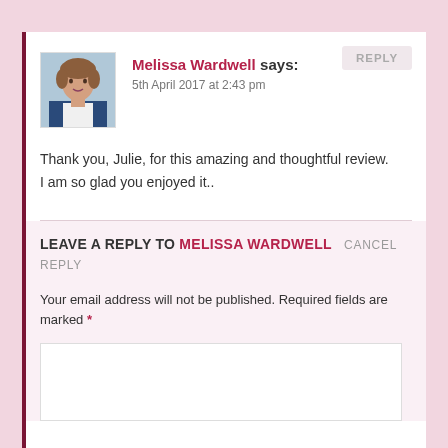REPLY
Melissa Wardwell says:
5th April 2017 at 2:43 pm
Thank you, Julie, for this amazing and thoughtful review. I am so glad you enjoyed it..
LEAVE A REPLY TO MELISSA WARDWELL   CANCEL REPLY
Your email address will not be published. Required fields are marked *